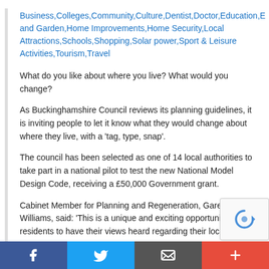Business,Colleges,Community,Culture,Dentist,Doctor,Education,E… and Garden,Home Improvements,Home Security,Local Attractions,Schools,Shopping,Solar power,Sport & Leisure Activities,Tourism,Travel
What do you like about where you live? What would you change?
As Buckinghamshire Council reviews its planning guidelines, it is inviting people to let it know what they would change about where they live, with a 'tag, type, snap'.
The council has been selected as one of 14 local authorities to take part in a national pilot to test the new National Model Design Code, receiving a £50,000 Government grant.
Cabinet Member for Planning and Regeneration, Gareth Williams, said: 'This is a unique and exciting opportunity for residents to have their views heard regarding their local area.'
The design code is a document that contains rules for new developments, how streets, public spaces and buildings will look, as well as spaces created for water and nature. The code for Bu… set rules that developers must follow.
Social share bar: Facebook, Twitter, Email, More